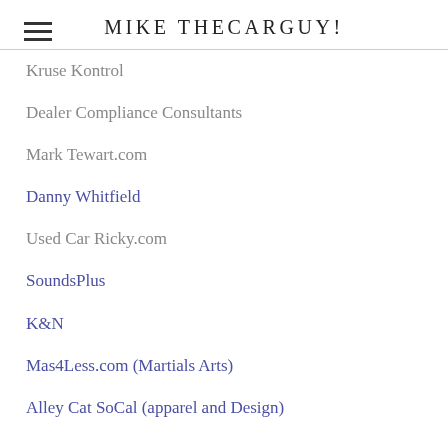MIKE THECARGUY!
Kruse Kontrol
Dealer Compliance Consultants
Mark Tewart.com
Danny Whitfield
Used Car Ricky.com
SoundsPlus
K&N
Mas4Less.com (Martials Arts)
Alley Cat SoCal (apparel and Design)